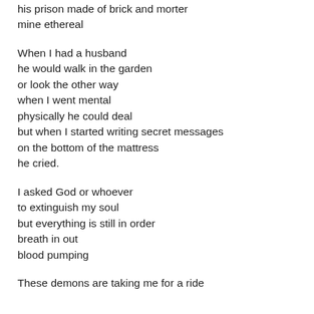his prison made of brick and morter
mine ethereal
When I had a husband
he would walk in the garden
or look the other way
when I went mental
physically he could deal
but when I started writing secret messages
on the bottom of the mattress
he cried.
I asked God or whoever
to extinguish my soul
but everything is still in order
breath in out
blood pumping
These demons are taking me for a ride